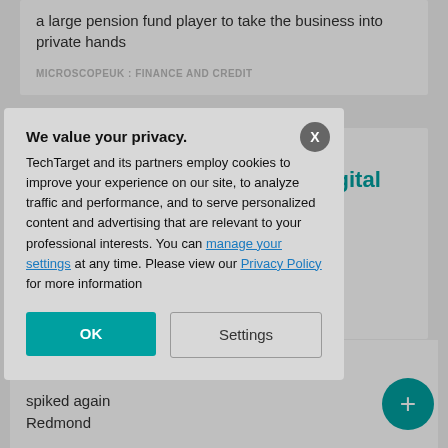a large pension fund player to take the business into private hands
MICROSCOPEUK : FINANCE AND CREDIT
THU APR 25, 2019
Cabinet Office seeks chief digital information officer
e Government reporting v strategy AND PUBLIC
ter sales for
spiked again Redmond
[Figure (screenshot): Cookie consent modal dialog with 'We value your privacy.' heading, body text about TechTarget and partners employing cookies, links to manage settings and Privacy Policy, and OK and Settings buttons.]